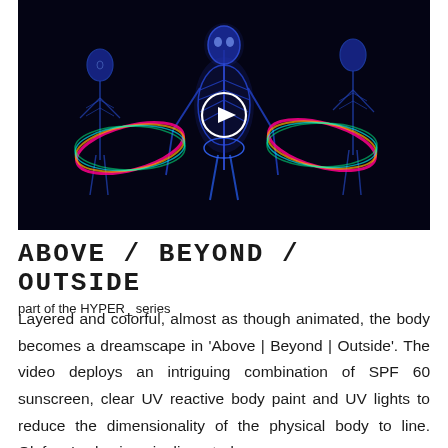[Figure (screenshot): Dark video thumbnail showing three human figures with UV-reactive body paint revealing skeletal/muscular structure against a black background, with colorful rainbow-colored disc/ring shapes. A white circular play button is overlaid in the center.]
ABOVE / BEYOND / OUTSIDE
part of the HYPER_ series
Layered and colorful, almost as though animated, the body becomes a dreamscape in 'Above | Beyond | Outside'. The video deploys an intriguing combination of SPF 60 sunscreen, clear UV reactive body paint and UV lights to reduce the dimensionality of the physical body to line. Olafson's physique is dissected